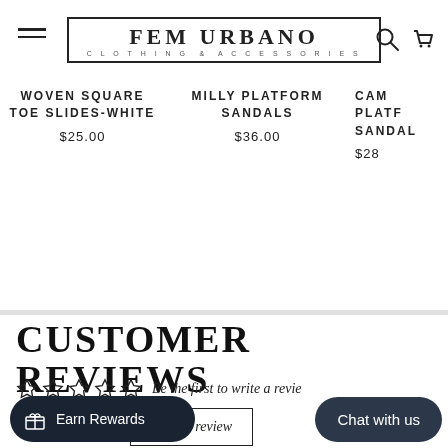FEM URBANO CLOTHING & ACCESSORIES
WOVEN SQUARE TOE SLIDES-WHITE $25.00
MILLY PLATFORM SANDALS $36.00
CAM PLATFORM SANDALS $28
CUSTOMER REVIEWS
Be the first to write a review
Write a review
Earn Rewards
Chat with us